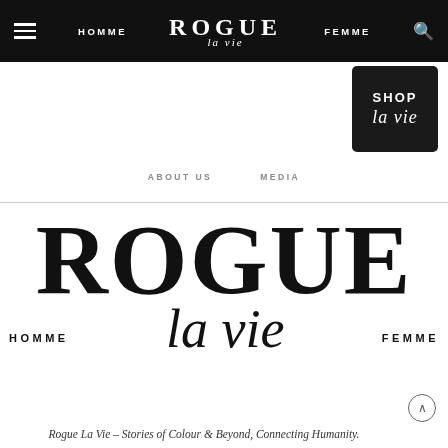HOMME  ROGUE la vie  FEMME
[Figure (logo): Shop La Vie dark badge with 'SHOP' and 'la vie' script text]
ABOUT US   MEDIA
[Figure (logo): Large Rogue La Vie logo with HOMME and FEMME labels and 'la vie' script]
Rogue La Vie – Stories of Colour & Beyond, Connecting Humanity.